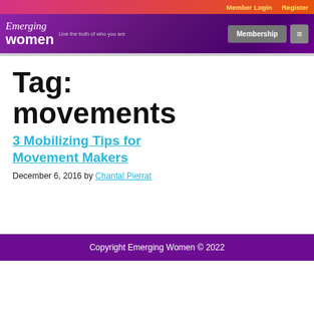Member Login   Register
Emerging Women — Live the truth of who you are   Membership
Tag: movements
3 Mobilizing Tips for Movement Makers
December 6, 2016 by Chantal Pierrat
Copyright Emerging Women © 2022